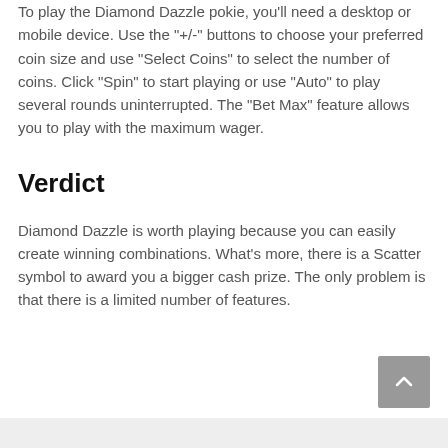To play the Diamond Dazzle pokie, you'll need a desktop or mobile device. Use the "+/-" buttons to choose your preferred coin size and use "Select Coins" to select the number of coins. Click "Spin" to start playing or use "Auto" to play several rounds uninterrupted. The "Bet Max" feature allows you to play with the maximum wager.
Verdict
Diamond Dazzle is worth playing because you can easily create winning combinations. What's more, there is a Scatter symbol to award you a bigger cash prize. The only problem is that there is a limited number of features.